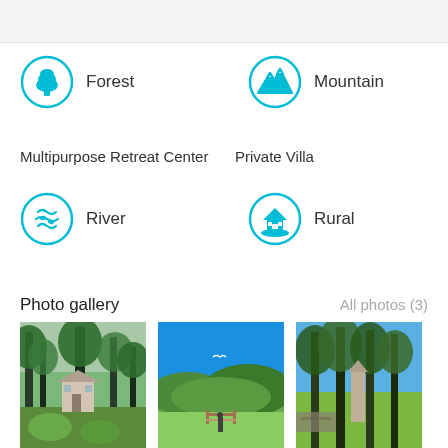Forest
Mountain
Multipurpose Retreat Center
Private Villa
River
Rural
Photo gallery
All photos (3)
[Figure (photo): Forest scene with tall pine trees and a house]
[Figure (photo): Mountain valley with green hills and blue sky]
[Figure (photo): Trees with blue sky and stone structure]